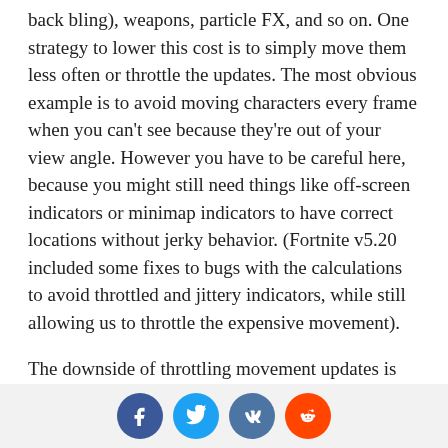back bling), weapons, particle FX, and so on. One strategy to lower this cost is to simply move them less often or throttle the updates. The most obvious example is to avoid moving characters every frame when you can't see because they're out of your view angle. However you have to be careful here, because you might still need things like off-screen indicators or minimap indicators to have correct locations without jerky behavior. (Fortnite v5.20 included some fixes to bugs with the calculations to avoid throttled and jittery indicators, while still allowing us to throttle the expensive movement).
The downside of throttling movement updates is that at low update rates you can notice the jittery behavior of movement when motion doesn't update every frame. Generally we have tuned our systems so that we try to throttle only characters that are far away or out of view. However special care has to be taken in some circumstances, such as zooming in through a scope at a character far away. Recent releases included fixes to lower or disable the throttling for characters in a
Social share buttons: Facebook, Twitter, VK, Reddit